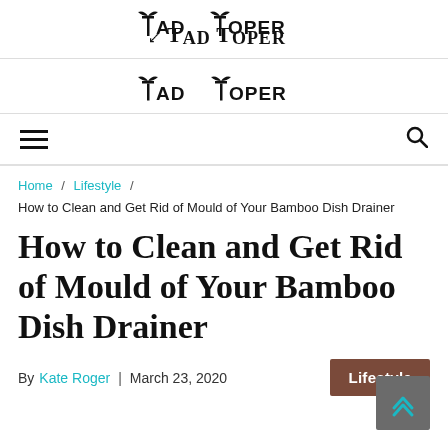TAD TOPER
Home / Lifestyle / How to Clean and Get Rid of Mould of Your Bamboo Dish Drainer
How to Clean and Get Rid of Mould of Your Bamboo Dish Drainer
By Kate Roger | March 23, 2020  Lifestyle